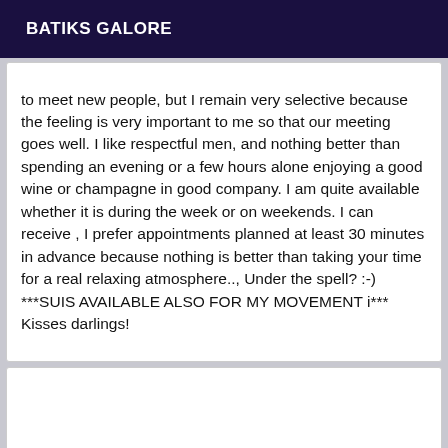BATIKS GALORE
to meet new people, but I remain very selective because the feeling is very important to me so that our meeting goes well. I like respectful men, and nothing better than spending an evening or a few hours alone enjoying a good wine or champagne in good company. I am quite available whether it is during the week or on weekends. I can receive , I prefer appointments planned at least 30 minutes in advance because nothing is better than taking your time for a real relaxing atmosphere.., Under the spell? :-) ***SUIS AVAILABLE ALSO FOR MY MOVEMENT i*** Kisses darlings!